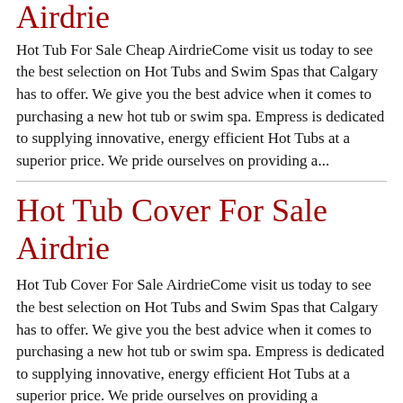Airdrie
Hot Tub For Sale Cheap AirdrieCome visit us today to see the best selection on Hot Tubs and Swim Spas that Calgary has to offer. We give you the best advice when it comes to purchasing a new hot tub or swim spa. Empress is dedicated to supplying innovative, energy efficient Hot Tubs at a superior price. We pride ourselves on providing a...
Hot Tub Cover For Sale Airdrie
Hot Tub Cover For Sale AirdrieCome visit us today to see the best selection on Hot Tubs and Swim Spas that Calgary has to offer. We give you the best advice when it comes to purchasing a new hot tub or swim spa. Empress is dedicated to supplying innovative, energy efficient Hot Tubs at a superior price. We pride ourselves on providing a